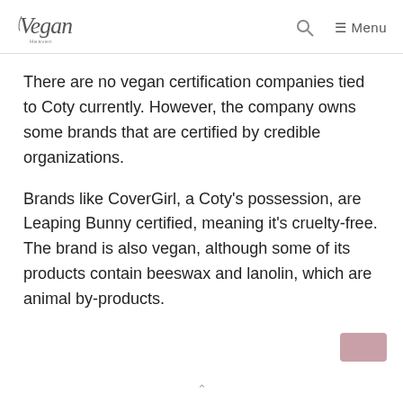Vegan Heaven | Menu
There are no vegan certification companies tied to Coty currently. However, the company owns some brands that are certified by credible organizations.
Brands like CoverGirl, a Coty's possession, are Leaping Bunny certified, meaning it's cruelty-free. The brand is also vegan, although some of its products contain beeswax and lanolin, which are animal by-products.